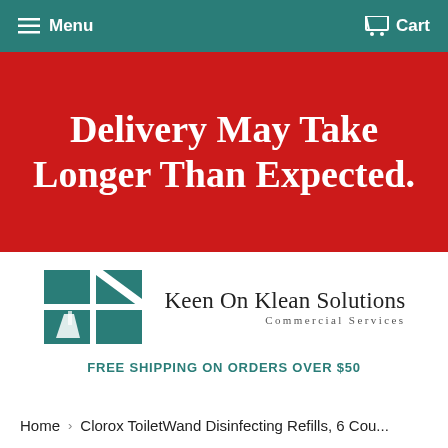Menu  Cart
Delivery May Take Longer Than Expected.
[Figure (logo): Keen On Klean Solutions Commercial Services logo featuring a teal 2x2 grid of squares with a diagonal slash and broom icon, alongside the company name and tagline.]
FREE SHIPPING ON ORDERS OVER $50
Home > Clorox ToiletWand Disinfecting Refills, 6 Cou...